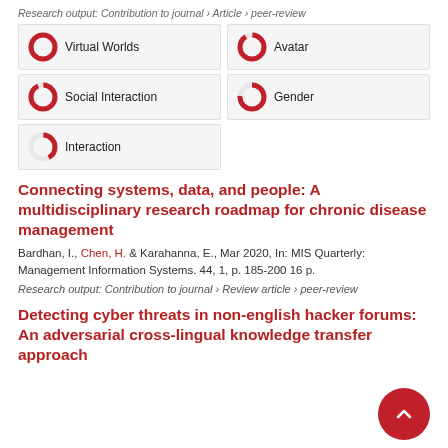Research output: Contribution to journal › Article › peer-review
[Figure (infographic): Five keyword badges with donut-style percentage indicators: Virtual Worlds 100%, Avatar 91%, Social Interaction 93%, Gender 76%, Interaction 42%]
Connecting systems, data, and people: A multidisciplinary research roadmap for chronic disease management
Bardhan, I., Chen, H. & Karahanna, E., Mar 2020, In: MIS Quarterly: Management Information Systems. 44, 1, p. 185-200 16 p.
Research output: Contribution to journal › Review article › peer-review
Detecting cyber threats in non-english hacker forums: An adversarial cross-lingual knowledge transfer approach